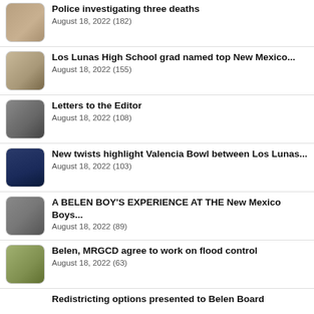Police investigating three deaths
August 18, 2022 (182)
Los Lunas High School grad named top New Mexico...
August 18, 2022 (155)
Letters to the Editor
August 18, 2022 (108)
New twists highlight Valencia Bowl between Los Lunas...
August 18, 2022 (103)
A BELEN BOY'S EXPERIENCE AT THE New Mexico Boys...
August 18, 2022 (89)
Belen, MRGCD agree to work on flood control
August 18, 2022 (63)
Redistricting options presented to Belen Board